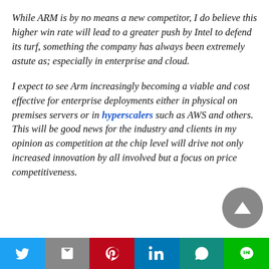While ARM is by no means a new competitor, I do believe this higher win rate will lead to a greater push by Intel to defend its turf, something the company has always been extremely astute as; especially in enterprise and cloud.
I expect to see Arm increasingly becoming a viable and cost effective for enterprise deployments either in physical on premises servers or in hyperscalers such as AWS and others.  This will be good news for the industry and clients in my opinion as competition at the chip level will drive not only increased innovation by all involved but a focus on price competitiveness.
[Figure (other): Social media sharing buttons bar at the bottom: Twitter (blue), Gmail (grey), Pinterest (red), LinkedIn (blue), WhatsApp (teal), Line (green)]